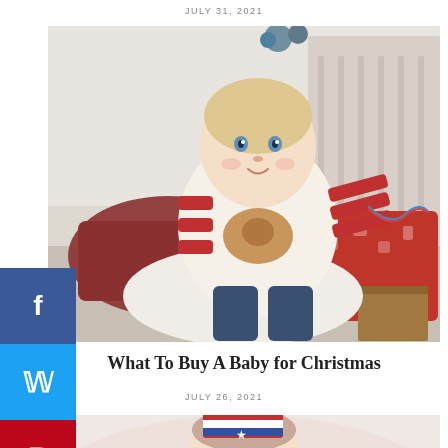JULY 31, 2021
[Figure (photo): A baby in a red and white striped reindeer sweater sitting among Christmas presents and red-patterned cushions, holding a colorful string.]
What To Buy A Baby for Christmas
JULY 26, 2021
[Figure (photo): Partial view of a baby or toddler wearing a patriotic hat, cropped at the bottom of the page.]